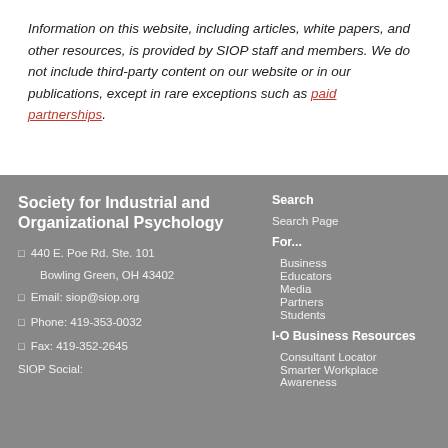Information on this website, including articles, white papers, and other resources, is provided by SIOP staff and members. We do not include third-party content on our website or in our publications, except in rare exceptions such as paid partnerships.
Society for Industrial and Organizational Psychology
440 E. Poe Rd. Ste. 101
Bowling Green, OH 43402
Email: siop@siop.org
Phone: 419-353-0032
Fax: 419-352-2645
SIOP Social:
Search
Search Page
For...
Business
Educators
Media
Partners
Students
I-O Business Resources
Consultant Locator
Smarter Workplace Awareness